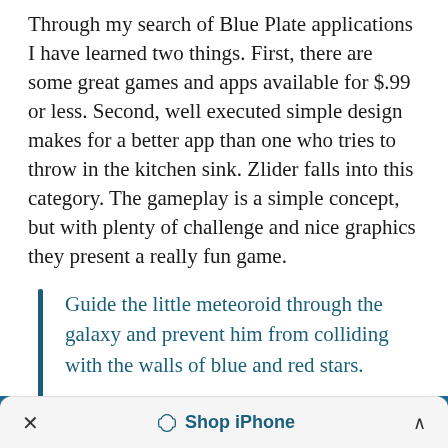Through my search of Blue Plate applications I have learned two things. First, there are some great games and apps available for $.99 or less. Second, well executed simple design makes for a better app than one who tries to throw in the kitchen sink. Zlider falls into this category. The gameplay is a simple concept, but with plenty of challenge and nice graphics they present a really fun game.
Guide the little meteoroid through the galaxy and prevent him from colliding with the walls of blue and red stars.
× 🏷 Shop iPhone ^